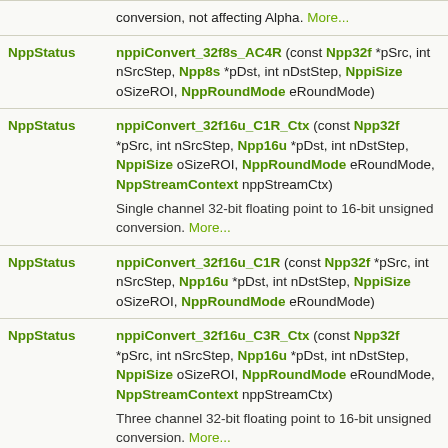| Type | Signature |
| --- | --- |
| NppStatus | nppiConvert_32f8s_AC4R (const Npp32f *pSrc, int nSrcStep, Npp8s *pDst, int nDstStep, NppiSize oSizeROI, NppRoundMode eRoundMode) |
| NppStatus | nppiConvert_32f16u_C1R_Ctx (const Npp32f *pSrc, int nSrcStep, Npp16u *pDst, int nDstStep, NppiSize oSizeROI, NppRoundMode eRoundMode, NppStreamContext nppStreamCtx)
Single channel 32-bit floating point to 16-bit unsigned conversion. More... |
| NppStatus | nppiConvert_32f16u_C1R (const Npp32f *pSrc, int nSrcStep, Npp16u *pDst, int nDstStep, NppiSize oSizeROI, NppRoundMode eRoundMode) |
| NppStatus | nppiConvert_32f16u_C3R_Ctx (const Npp32f *pSrc, int nSrcStep, Npp16u *pDst, int nDstStep, NppiSize oSizeROI, NppRoundMode eRoundMode, NppStreamContext nppStreamCtx)
Three channel 32-bit floating point to 16-bit unsigned conversion. More... |